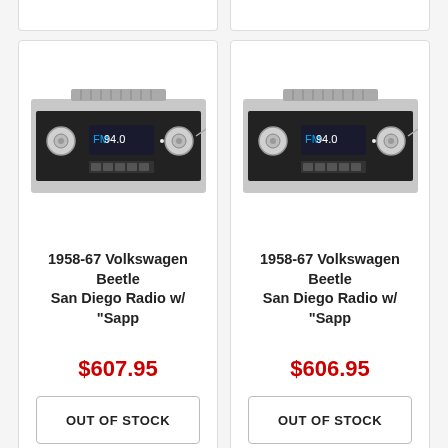[Figure (photo): Vintage car radio unit showing FM display reading 94.0, with chrome knobs on each side, top ventilation slots]
1958-67 Volkswagen Beetle San Diego Radio w/ "Sapp
$607.95
OUT OF STOCK
[Figure (photo): Vintage car radio unit showing FM display reading 94.0, with chrome knobs on each side, top ventilation slots]
1958-67 Volkswagen Beetle San Diego Radio w/ "Sapp
$606.95
OUT OF STOCK